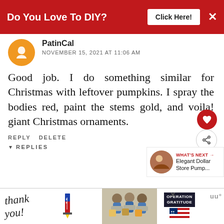[Figure (screenshot): Red banner advertisement: 'Do You Love To DIY?' with 'Click Here!' button and close X]
PatinCal
NOVEMBER 15, 2021 AT 11:06 AM
Good job. I do something similar for Christmas with leftover pumpkins. I spray the bodies red, paint the stems gold, and voila! giant Christmas ornaments.
REPLY DELETE
REPLIES
Kim
[Figure (screenshot): Bottom advertisement banner with 'Thank you' text, Operation Gratitude logo, and healthcare workers photo]